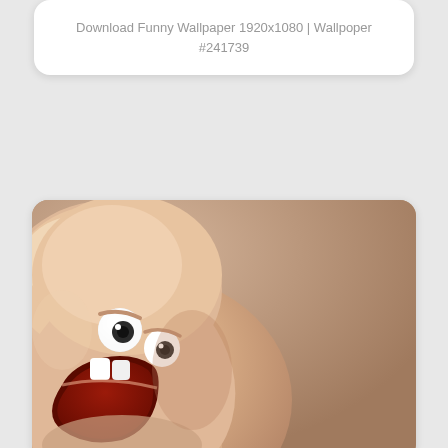Download Funny Wallpaper 1920x1080 | Wallpoper #241739
[Figure (illustration): A funny 3D cartoon face with bulging eyes and a wide open screaming mouth with two visible teeth, rendered against a tan/brown background. The face appears to be pressing through a surface or emerging from the lower-left corner.]